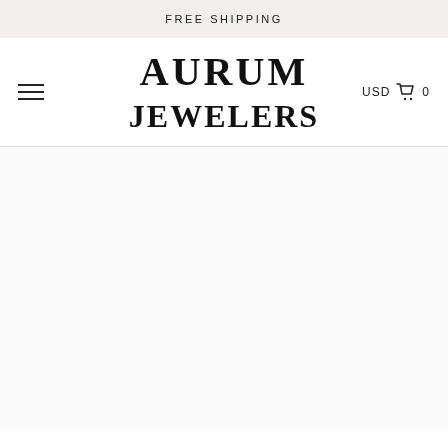FREE SHIPPING
AURUM JEWELERS
USD  🛒 0